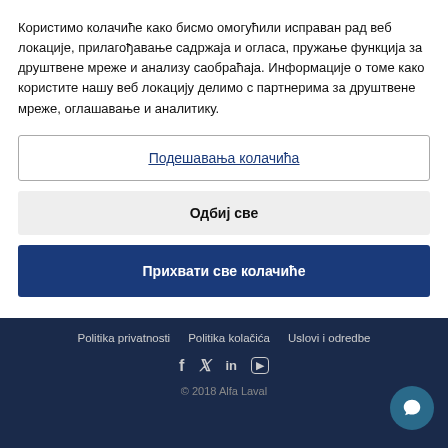Користимо колачиће како бисмо омогућили исправан рад веб локације, прилагођавање садржаја и огласа, пружање функција за друштвене мреже и анализу саобраћаја. Информације о томе како користите нашу веб локацију делимо с партнерима за друштвене мреже, оглашавање и аналитику.
Подешавања колачића
Одбиј све
Прихвати све колачиће
Politika privatnosti   Politika kolačića   Uslovi i odredbe
© 2018 Alfa Laval